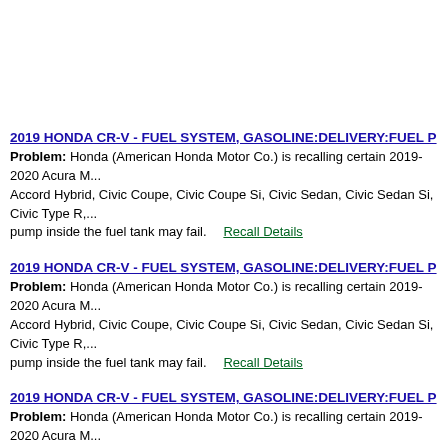2019 HONDA CR-V - FUEL SYSTEM, GASOLINE:DELIVERY:FUEL P... Problem: Honda (American Honda Motor Co.) is recalling certain 2019-2020 Acura M... Accord Hybrid, Civic Coupe, Civic Coupe Si, Civic Sedan, Civic Sedan Si, Civic Type R,... pump inside the fuel tank may fail. Recall Details
2019 HONDA CR-V - FUEL SYSTEM, GASOLINE:DELIVERY:FUEL P... Problem: Honda (American Honda Motor Co.) is recalling certain 2019-2020 Acura M... Accord Hybrid, Civic Coupe, Civic Coupe Si, Civic Sedan, Civic Sedan Si, Civic Type R,... pump inside the fuel tank may fail. Recall Details
2019 HONDA CR-V - FUEL SYSTEM, GASOLINE:DELIVERY:FUEL P... Problem: Honda (American Honda Motor Co.) is recalling certain 2019-2020 Acura M... Accord Hybrid, Civic Coupe, Civic Coupe Si, Civic Sedan, Civic Sedan Si, Civic Type R,... pump inside the fuel tank may fail. Recall Details
2019 HONDA CR-V - FUEL SYSTEM, GASOLINE:DELIVERY:FUEL P... Problem: Honda (American Honda Motor Co.) is recalling certain 2019-2020 Acura M... Accord Hybrid, Civic Coupe, Civic Coupe Si, Civic Sedan, Civic Sedan Si, Civic Type R,... pump inside the fuel tank may fail. Recall Details
2019 HONDA CR-V - FUEL SYSTEM, GASOLINE:DELIVERY:FUEL P...